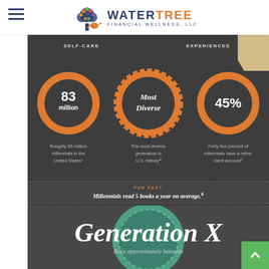WaterTree Financial Wellness, LLC
SELF-CARE
EXPERIENCES
[Figure (infographic): Three circular badges/icons on dark background. Left: orange donut circle with '83 million'. Center: orange gear/badge with 'Most Diverse'. Right: orange donut circle with '45%'.]
Roughly 83 million millennials in the United States¹
The most diverse generation in U.S. history⁴
Forty-five percent of millennials have a retirement account⁵
FUN FACT
Millennials read 5 books a year on average.⁶
Generation X
Born approximately between